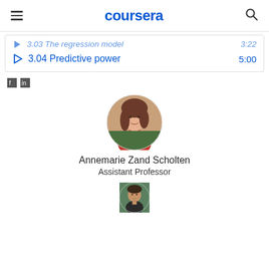coursera
3.03 The regression model  3:22
3.04 Predictive power  5:00
[Figure (other): Two small social sharing or rating icons (partially visible)]
[Figure (photo): Circular portrait photo of Annemarie Zand Scholten, a woman with brown hair wearing a red top]
Annemarie Zand Scholten
Assistant Professor
[Figure (photo): Circular portrait photo of a second instructor, a man, partially visible at bottom of page]